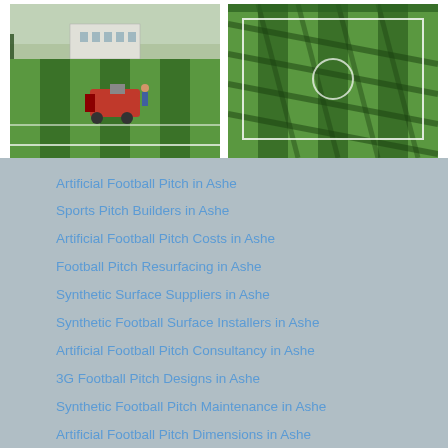[Figure (photo): Aerial/ground-level view of an artificial football pitch installation with a red machine laying turf, buildings in background]
[Figure (photo): Aerial view of a completed synthetic football pitch with line markings and fencing visible]
Artificial Football Pitch in Ashe
Sports Pitch Builders in Ashe
Artificial Football Pitch Costs in Ashe
Football Pitch Resurfacing in Ashe
Synthetic Surface Suppliers in Ashe
Synthetic Football Surface Installers in Ashe
Artificial Football Pitch Consultancy in Ashe
3G Football Pitch Designs in Ashe
Synthetic Football Pitch Maintenance in Ashe
Artificial Football Pitch Dimensions in Ashe
Created by © Artificial Football Pitch